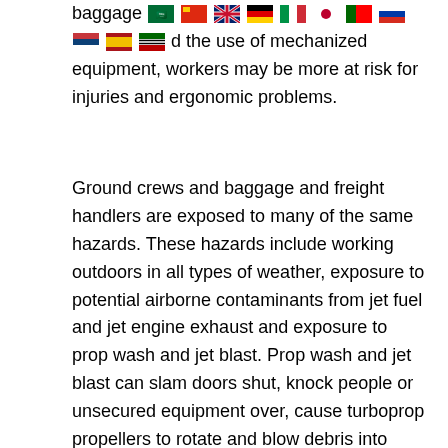baggage [flags] and the use of mechanized equipment, workers may be more at risk for injuries and ergonomic problems.
Ground crews and baggage and freight handlers are exposed to many of the same hazards. These hazards include working outdoors in all types of weather, exposure to potential airborne contaminants from jet fuel and jet engine exhaust and exposure to prop wash and jet blast. Prop wash and jet blast can slam doors shut, knock people or unsecured equipment over, cause turboprop propellers to rotate and blow debris into engines or onto people. Ground crews are also exposed to noise hazards. A study in China showed ground crews were exposed to noise at aircraft engine hatches that exceeds 115 dBA (Wu et al. 1989). Vehicle traffic on the airport ramps and apron is very heavy, and the risk of accidents and collision is high. Fuelling operations are very hazardous, and workers may be exposed to fuel spills, leaks, fires and explosions. Workers on lifting devices, aerial baskets, platforms or access